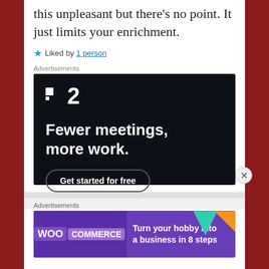this unpleasant but there's no point. It just limits your enrichment.
★ Liked by 1 person
Advertisements
[Figure (screenshot): Advertisement for Planday (logo showing two squares and number 2) with text 'Fewer meetings, more work.' and a 'Get started for free' button on dark background]
Advertisements
[Figure (screenshot): WooCommerce advertisement with purple background. Text reads 'Turn your hobby into a business in 8 steps']